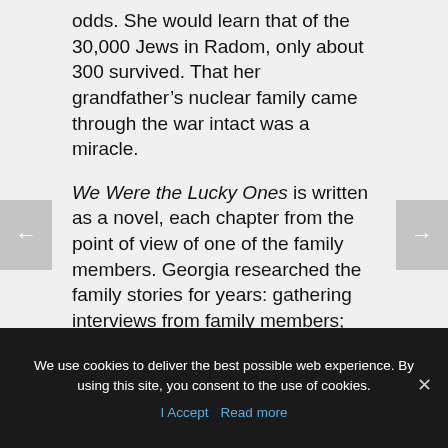odds. She would learn that of the 30,000 Jews in Radom, only about 300 survived. That her grandfather's nuclear family came through the war intact was a miracle.
We Were the Lucky Ones is written as a novel, each chapter from the point of view of one of the family members. Georgia researched the family stories for years: gathering interviews from family members; traipsing across the world revisiting the many locations, researching the Holocaust, interviewing survivors, and locating records. A short historical account of the war prefaces each chapter, helping the reader to connect the personal stories with the broader view of the conflict. Set in the European
We use cookies to deliver the best possible web experience. By using this site, you consent to the use of cookies.
I Accept  Read more